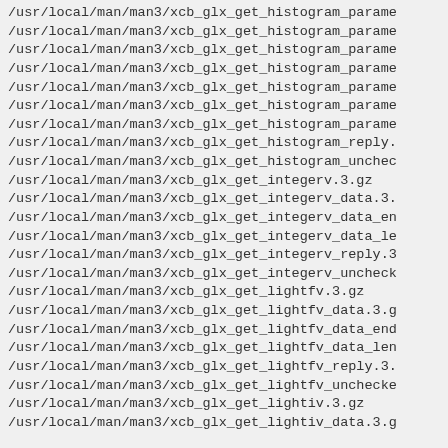/usr/local/man/man3/xcb_glx_get_histogram_parame
/usr/local/man/man3/xcb_glx_get_histogram_parame
/usr/local/man/man3/xcb_glx_get_histogram_parame
/usr/local/man/man3/xcb_glx_get_histogram_parame
/usr/local/man/man3/xcb_glx_get_histogram_parame
/usr/local/man/man3/xcb_glx_get_histogram_parame
/usr/local/man/man3/xcb_glx_get_histogram_parame
/usr/local/man/man3/xcb_glx_get_histogram_reply.
/usr/local/man/man3/xcb_glx_get_histogram_unchec
/usr/local/man/man3/xcb_glx_get_integerv.3.gz
/usr/local/man/man3/xcb_glx_get_integerv_data.3.
/usr/local/man/man3/xcb_glx_get_integerv_data_en
/usr/local/man/man3/xcb_glx_get_integerv_data_le
/usr/local/man/man3/xcb_glx_get_integerv_reply.3
/usr/local/man/man3/xcb_glx_get_integerv_uncheck
/usr/local/man/man3/xcb_glx_get_lightfv.3.gz
/usr/local/man/man3/xcb_glx_get_lightfv_data.3.g
/usr/local/man/man3/xcb_glx_get_lightfv_data_end
/usr/local/man/man3/xcb_glx_get_lightfv_data_len
/usr/local/man/man3/xcb_glx_get_lightfv_reply.3.
/usr/local/man/man3/xcb_glx_get_lightfv_unchecke
/usr/local/man/man3/xcb_glx_get_lightiv.3.gz
/usr/local/man/man3/xcb_glx_get_lightiv_data.3.g